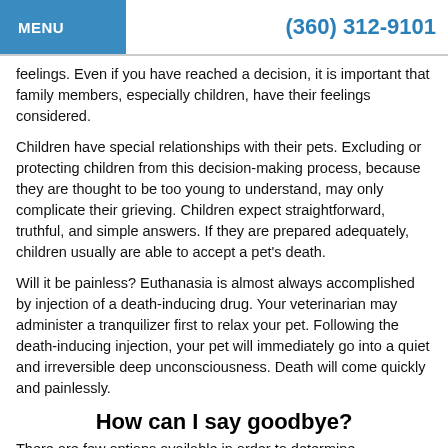MENU | (360) 312-9101
feelings. Even if you have reached a decision, it is important that family members, especially children, have their feelings considered.
Children have special relationships with their pets. Excluding or protecting children from this decision-making process, because they are thought to be too young to understand, may only complicate their grieving. Children expect straightforward, truthful, and simple answers. If they are prepared adequately, children usually are able to accept a pet's death.
Will it be painless? Euthanasia is almost always accomplished by injection of a death-inducing drug. Your veterinarian may administer a tranquilizer first to relax your pet. Following the death-inducing injection, your pet will immediately go into a quiet and irreversible deep unconsciousness. Death will come quickly and painlessly.
How can I say goodbye?
There are few options available in order to determine...